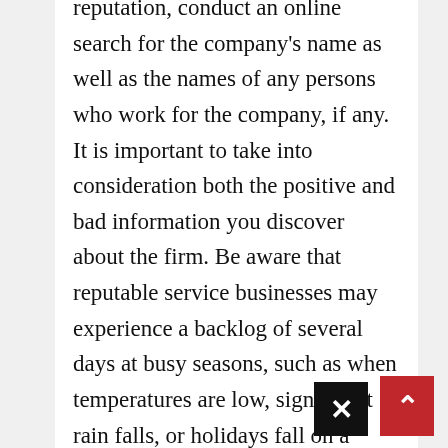reputation, conduct an online search for the company's name as well as the names of any persons who work for the company, if any. It is important to take into consideration both the positive and bad information you discover about the firm. Be aware that reputable service businesses may experience a backlog of several days at busy seasons, such as when temperatures are low, significant rain falls, or holidays fall on a weekend or holiday. In certain cases, high demand can be a symptom of a firm that has a large number of recurring clients.